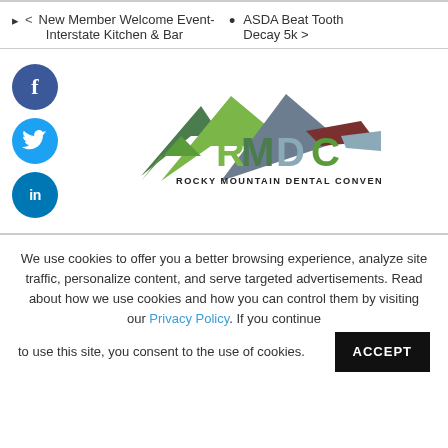< New Member Welcome Event- Interstate Kitchen & Bar
ASDA Beat Tooth Decay 5k >
[Figure (logo): Rocky Mountain Dental Convention (RMDC) logo with mountain shapes in green, dark green, gray, dark red, and blue, with colorful text RMDC and subtitle ROCKY MOUNTAIN DENTAL CONVENTION]
We use cookies to offer you a better browsing experience, analyze site traffic, personalize content, and serve targeted advertisements. Read about how we use cookies and how you can control them by visiting our Privacy Policy. If you continue to use this site, you consent to the use of cookies.